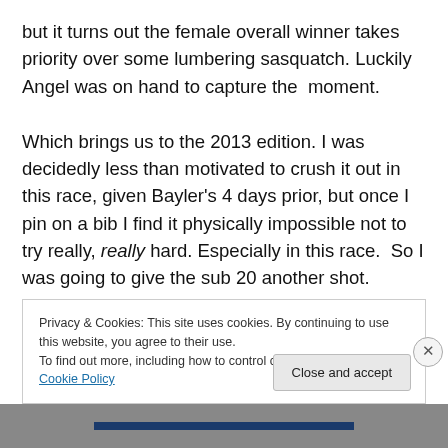but it turns out the female overall winner takes priority over some lumbering sasquatch. Luckily Angel was on hand to capture the  moment.

Which brings us to the 2013 edition. I was decidedly less than motivated to crush it out in this race, given Bayler's 4 days prior, but once I pin on a bib I find it physically impossible not to try really, really hard. Especially in this race.  So I was going to give the sub 20 another shot.  Perhaps more important to my fragile ego was trying to return the favor for the ruthless beatings I've received from
Privacy & Cookies: This site uses cookies. By continuing to use this website, you agree to their use.
To find out more, including how to control cookies, see here: Cookie Policy